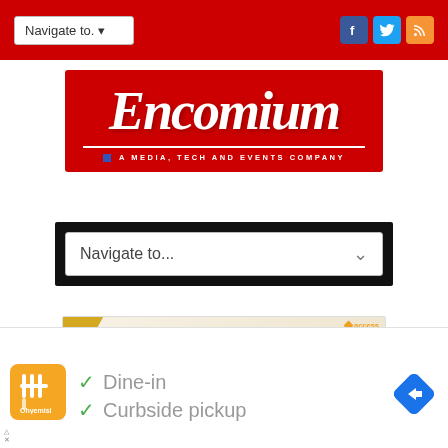[Figure (screenshot): Red navigation bar with 'Navigate to.' dropdown and Facebook, Twitter, RSS social icons]
[Figure (logo): Encomium logo on red background with tagline 'A MEDIA, TECH AND EVENTS COMPANY']
[Figure (screenshot): Black navigation box with 'Navigate to...' dropdown on dark background]
[Figure (screenshot): Access Bank advertisement banner: 'access more of the world' with globe/passport imagery]
[Figure (screenshot): Google Maps UI snippet showing 'Dine-in' and 'Curbside pickup' options with checkmarks, restaurant icon, and navigation arrow]